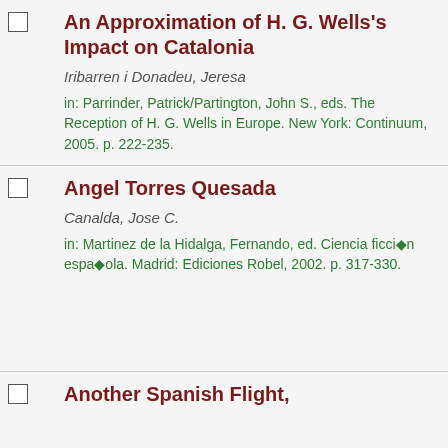An Approximation of H. G. Wells's Impact on Catalonia | Iribarren i Donadeu, Jeresa | in: Parrinder, Patrick/Partington, John S., eds. The Reception of H. G. Wells in Europe. New York: Continuum, 2005. p. 222-235.
Angel Torres Quesada | Canalda, Jose C. | in: Martinez de la Hidalga, Fernando, ed. Ciencia ficción española. Madrid: Ediciones Robel, 2002. p. 317-330.
Another Spanish Flight,